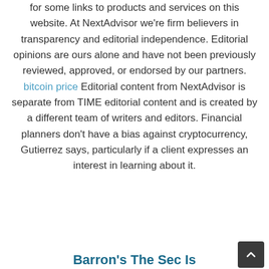for some links to products and services on this website. At NextAdvisor we're firm believers in transparency and editorial independence. Editorial opinions are ours alone and have not been previously reviewed, approved, or endorsed by our partners. bitcoin price Editorial content from NextAdvisor is separate from TIME editorial content and is created by a different team of writers and editors. Financial planners don't have a bias against cryptocurrency, Gutierrez says, particularly if a client expresses an interest in learning about it.
Barron's The Sec Is